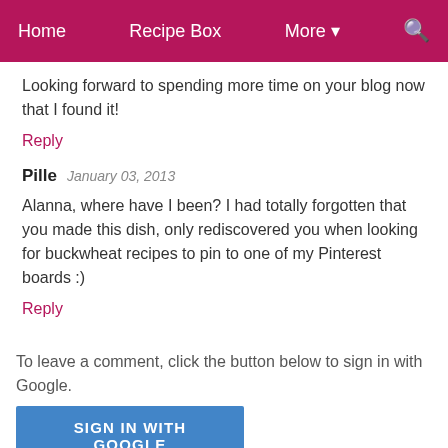Home  Recipe Box  More  🔍
Looking forward to spending more time on your blog now that I found it!
Reply
Pille  January 03, 2013
Alanna, where have I been? I had totally forgotten that you made this dish, only rediscovered you when looking for buckwheat recipes to pin to one of my Pinterest boards :)
Reply
To leave a comment, click the button below to sign in with Google.
SIGN IN WITH GOOGLE
Thank you for taking a moment to write! I read each and every comment, for each and every recipe, whether a